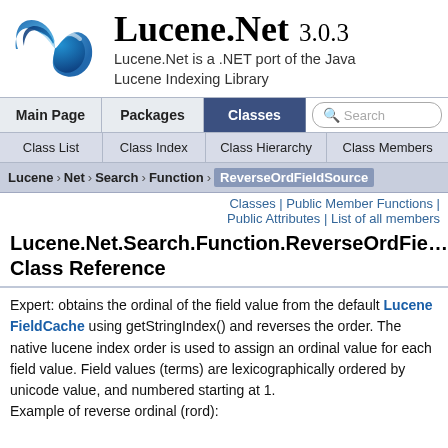Lucene.Net 3.0.3 — Lucene.Net is a .NET port of the Java Lucene Indexing Library
Main Page | Packages | Classes | Search
Class List | Class Index | Class Hierarchy | Class Members
Lucene > Net > Search > Function > ReverseOrdFieldSource
Classes | Public Member Functions | Public Attributes | List of all members
Lucene.Net.Search.Function.ReverseOrdFieldSource Class Reference
Expert: obtains the ordinal of the field value from the default Lucene FieldCache using getStringIndex() and reverses the order. The native lucene index order is used to assign an ordinal value for each field value. Field values (terms) are lexicographically ordered by unicode value, and numbered starting at 1.
Example of reverse ordinal (rord):